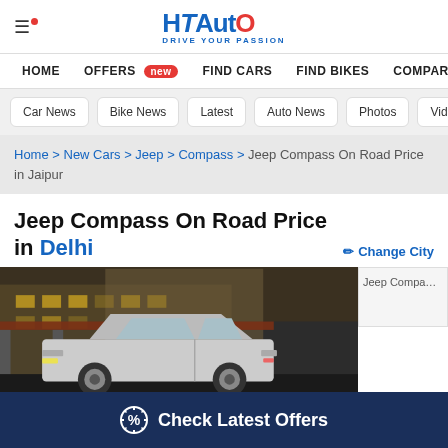HT Auto – Drive Your Passion
HOME | OFFERS new | FIND CARS | FIND BIKES | COMPARE CA
Car News | Bike News | Latest | Auto News | Photos | Videos
Home > New Cars > Jeep > Compass > Jeep Compass On Road Price in Jaipur
Jeep Compass On Road Price in Delhi
Change City
[Figure (photo): Jeep Compass SUV parked in front of a modern building, side/rear view]
Jeep Compa[ss thumbnail]
Check Latest Offers